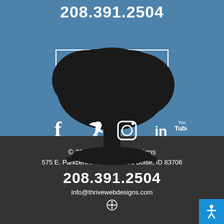208.391.2504
CHAT NOW
[Figure (illustration): Silhouette of a bonsai tree with social media icons (Facebook, Twitter, Instagram, LinkedIn, YouTube) overlaid on the branches]
© 2022 Thrive Web Designs
575 E. Parkcenter Blvd Ste. 180 Boise, ID 83706
208.391.2504
info@thrivewebdesigns.com